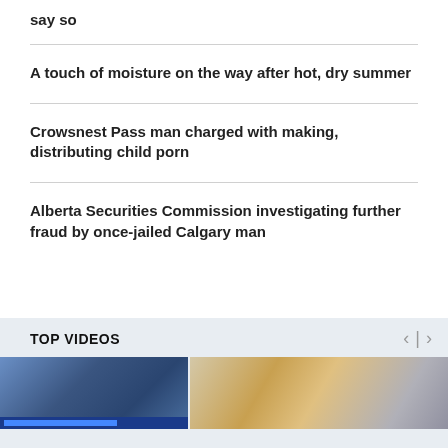say so
A touch of moisture on the way after hot, dry summer
Crowsnest Pass man charged with making, distributing child porn
Alberta Securities Commission investigating further fraud by once-jailed Calgary man
TOP VIDEOS
[Figure (photo): Video thumbnail showing blue blurred bokeh background]
[Figure (photo): Video thumbnail showing gold and grey blurred objects]